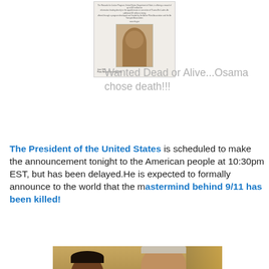[Figure (other): Small wanted poster document thumbnail showing a photo and fine print text about the Rewards for Justice Program, U.S. Department of State, offering reward for Osama Bin Laden]
Wanted Dead or Alive...Osama chose death!!!
The President of the United States is scheduled to make the announcement tonight to the American people at 10:30pm EST, but has been delayed.He is expected to formally announce to the world that the mastermind behind 9/11 has been killed!
[Figure (photo): Photograph of Barack Obama (left) and George W. Bush (right) standing together]